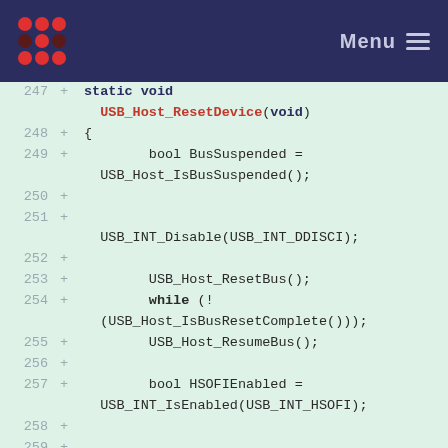Menu
[Figure (screenshot): Code diff viewer showing lines 247-260 of a C source file, with added lines marked by '+'. The code shows the function USB_Host_ResetDevice(void) with its body including bool BusSuspended, USB_INT_Disable, USB_Host_ResetBus, while loop, USB_Host_ResumeBus, bool HSOFIEnabled, and USB_INT_Disable calls.]